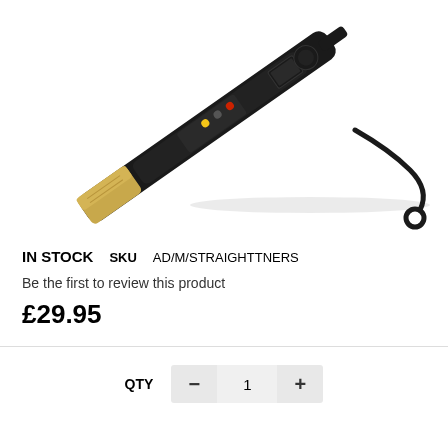[Figure (photo): A black hair straightener with gold plates and a coiled power cord, shown diagonally on a white background. The device has indicator lights and a control dial visible on the body.]
IN STOCK  SKU  AD/M/STRAIGHTTNERS
Be the first to review this product
£29.95
QTY  −  1  +